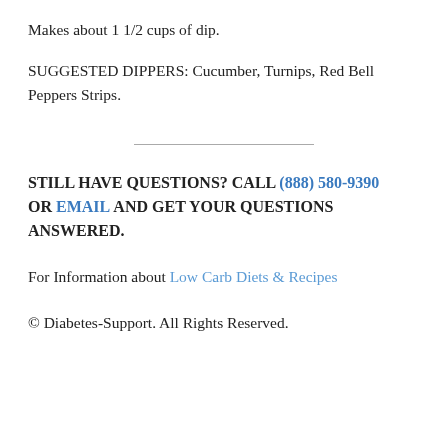Makes about 1 1/2 cups of dip.
SUGGESTED DIPPERS: Cucumber, Turnips, Red Bell Peppers Strips.
STILL HAVE QUESTIONS? CALL (888) 580-9390 OR EMAIL AND GET YOUR QUESTIONS ANSWERED.
For Information about Low Carb Diets & Recipes
© Diabetes-Support. All Rights Reserved.